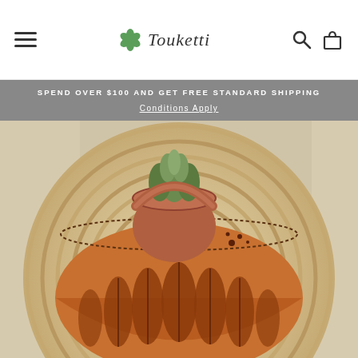Touketti — navigation header with hamburger menu, logo, search and cart icons
SPEND OVER $100 AND GET FREE STANDARD SHIPPING
Conditions Apply
[Figure (photo): A round woven straw/rattan placemat or tray photographed from above. On it rests a tan/brown leather clutch purse with hand-tooled feather and leaf designs in dark brown/black. A small terracotta pot with a succulent plant sits on top of the bag. The background shows more woven textile texture.]